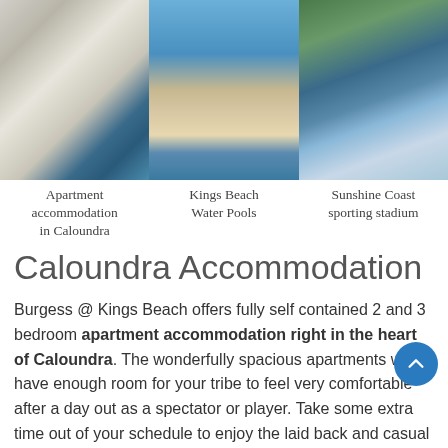[Figure (photo): Three side-by-side photos: apartment interior with blue cushions (left), Kings Beach Water Pools with people playing basketball (center), aerial view of Sunshine Coast sporting stadium with water (right)]
Apartment accommodation in Caloundra
Kings Beach Water Pools
Sunshine Coast sporting stadium
Caloundra Accommodation
Burgess @ Kings Beach offers fully self contained 2 and 3 bedroom apartment accommodation right in the heart of Caloundra. The wonderfully spacious apartments will have enough room for your tribe to feel very comfortable after a day out as a spectator or player. Take some extra time out of your schedule to enjoy the laid back and casual beach setting.  At just three minutes walk from Kings Beach, and a minute more to the Salt Water Pools, unwinding is a breeze.